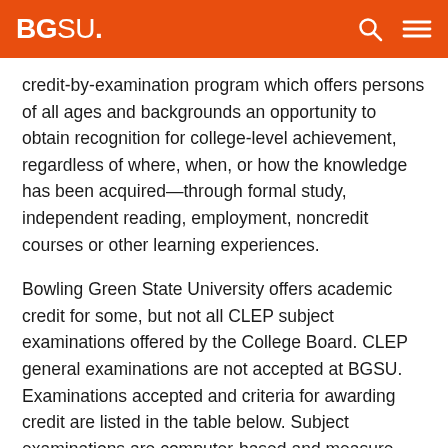BGSU
credit-by-examination program which offers persons of all ages and backgrounds an opportunity to obtain recognition for college-level achievement, regardless of where, when, or how the knowledge has been acquired—through formal study, independent reading, employment, noncredit courses or other learning experiences.
Bowling Green State University offers academic credit for some, but not all CLEP subject examinations offered by the College Board. CLEP general examinations are not accepted at BGSU. Examinations accepted and criteria for awarding credit are listed in the table below. Subject examinations are computer-based and measure achievement in specific college courses. If the criteria established for the examination by the state of Ohio is met, students will be awarded credit for the specific courses as approved by a state-wide faculty panel